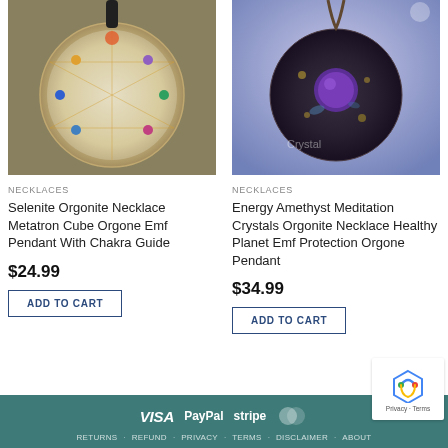[Figure (photo): Selenite Orgonite pendant with Metatron cube design, circular shape with colored chakra stones, on wooden background]
NECKLACES
Selenite Orgonite Necklace Metatron Cube Orgone Emf Pendant With Chakra Guide
$24.99
ADD TO CART
[Figure (photo): Energy Amethyst pendant, dark spherical orgonite necklace with purple amethyst center stone on blue/purple background]
NECKLACES
Energy Amethyst Meditation Crystals Orgonite Necklace Healthy Planet Emf Protection Orgone Pendant
$34.99
ADD TO CART
VISA  PayPal  stripe  MasterCard  RETURNS  REFUND  PRIVACY  TERMS  DISCLAIMER  ABOUT